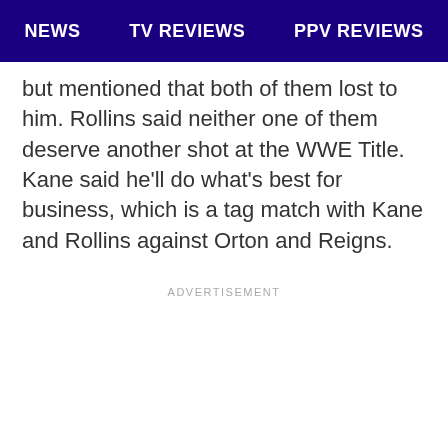NEWS  TV REVIEWS  PPV REVIEWS
but mentioned that both of them lost to him. Rollins said neither one of them deserve another shot at the WWE Title. Kane said he'll do what's best for business, which is a tag match with Kane and Rollins against Orton and Reigns.
ADVERTISEMENT